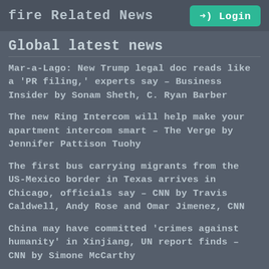fire Related News
Global latest news
Mar-a-Lago: New Trump legal doc reads like a 'PR filing,' experts say – Business Insider by Sonam Sheth, C. Ryan Barber
The new Ring Intercom will help make your apartment intercom smart – The Verge by Jennifer Pattison Tuohy
The first bus carrying migrants from the US-Mexico border in Texas arrives in Chicago, officials say – CNN by Travis Caldwell, Andy Rose and Omar Jimenez, CNN
China may have committed 'crimes against humanity' in Xinjiang, UN report finds – CNN by Simone McCarthy